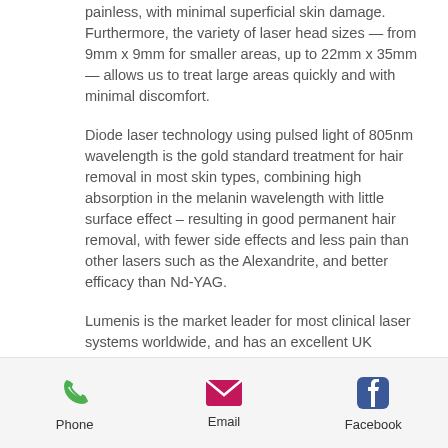painless, with minimal superficial skin damage. Furthermore, the variety of laser head sizes — from 9mm x 9mm for smaller areas, up to 22mm x 35mm — allows us to treat large areas quickly and with minimal discomfort.
Diode laser technology using pulsed light of 805nm wavelength is the gold standard treatment for hair removal in most skin types, combining high absorption in the melanin wavelength with little surface effect – resulting in good permanent hair removal, with fewer side effects and less pain than other lasers such as the Alexandrite, and better efficacy than Nd-YAG.
Lumenis is the market leader for most clinical laser systems worldwide, and has an excellent UK distribution and servicing
[Figure (infographic): Mobile app footer bar with three icons: Phone (green phone icon), Email (pink/magenta envelope icon), Facebook (blue Facebook icon). Each icon has a label beneath it.]